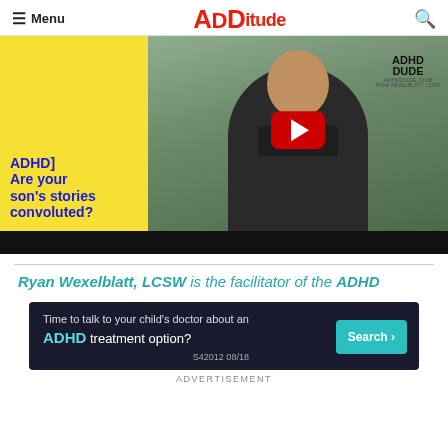≡ Menu  ADDitude  🔍
[Figure (screenshot): YouTube video thumbnail showing a man in a black t-shirt and light grey shorts standing outdoors. Left panel has yellow background with blue bold text '[ADHD] Are your son's stories convoluted?'. Center has a red YouTube play button. Top right shows ADHD Dude logo badge. Bottom has a black progress bar.]
Ryan Wexelblatt, LCSW is the facilitator of the ADHD
[Figure (screenshot): Advertisement banner with dark navy background. Text reads 'Time to talk to your child's doctor about an ADHD treatment option?' with a teal Search button and code S42012 08/18.]
ADVERTISEMENT